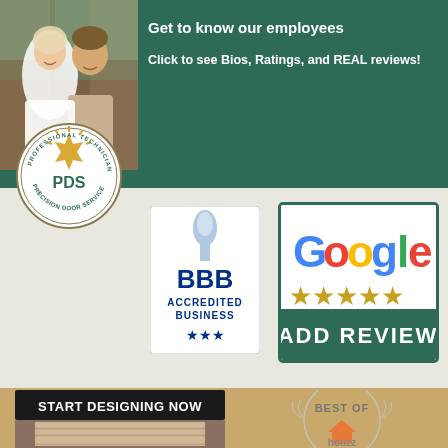[Figure (photo): Photo of a couple (bride and groom) with wooden background, used as employee profile image]
Get to know our employees
Click to see Bios, Ratings, and REAL reviews!
[Figure (logo): PDS Professional Technician Precision Door Service circular badge/seal logo with gold crown]
[Figure (logo): BBB Accredited Business logo]
[Figure (logo): Google 5-star rating ADD REVIEW button with gold stars on green background]
[Figure (logo): START DESIGNING NOW banner with overhead garage door image]
[Figure (logo): Best Of Houzz award badge (partially visible)]